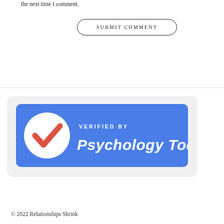the next time I comment.
SUBMIT COMMENT
[Figure (logo): Verified by Psychology Today badge — blue rounded rectangle with white circle containing a red checkmark on the left, and white text 'VERIFIED BY' above 'Psychology Today' in bold italic on the right.]
© 2022 Relationships Shrink